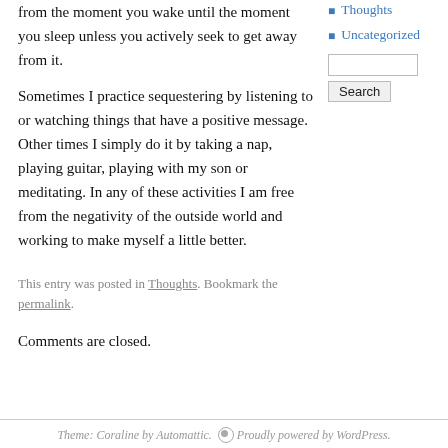from the moment you wake until the moment you sleep unless you actively seek to get away from it.
Thoughts
Uncategorized
Sometimes I practice sequestering by listening to or watching things that have a positive message. Other times I simply do it by taking a nap, playing guitar, playing with my son or meditating. In any of these activities I am free from the negativity of the outside world and working to make myself a little better.
This entry was posted in Thoughts. Bookmark the permalink.
Comments are closed.
Theme: Coraline by Automattic.  Proudly powered by WordPress.